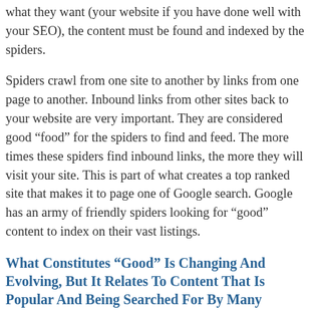what they want (your website if you have done well with your SEO), the content must be found and indexed by the spiders.
Spiders crawl from one site to another by links from one page to another. Inbound links from other sites back to your website are very important. They are considered good “food” for the spiders to find and feed. The more times these spiders find inbound links, the more they will visit your site. This is part of what creates a top ranked site that makes it to page one of Google search. Google has an army of friendly spiders looking for “good” content to index on their vast listings.
What Constitutes “Good” Is Changing And Evolving, But It Relates To Content That Is Popular And Being Searched For By Many